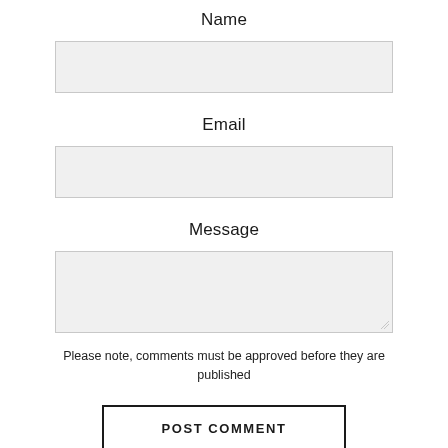Name
[Figure (other): Text input field for Name]
Email
[Figure (other): Text input field for Email]
Message
[Figure (other): Textarea input field for Message]
Please note, comments must be approved before they are published
POST COMMENT
Back to Blog